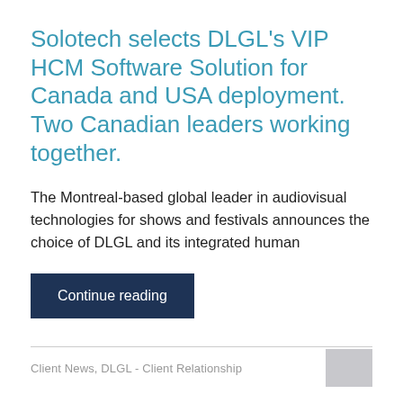Solotech selects DLGL's VIP HCM Software Solution for Canada and USA deployment. Two Canadian leaders working together.
The Montreal-based global leader in audiovisual technologies for shows and festivals announces the choice of DLGL and its integrated human
Continue reading
Client News, DLGL - Client Relationship